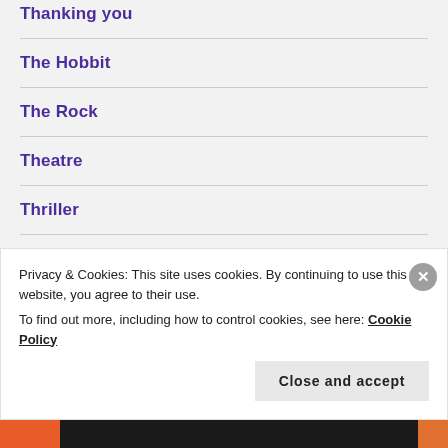Thanking you
The Hobbit
The Rock
Theatre
Thriller
Tim Burton
Privacy & Cookies: This site uses cookies. By continuing to use this website, you agree to their use.
To find out more, including how to control cookies, see here: Cookie Policy
Close and accept